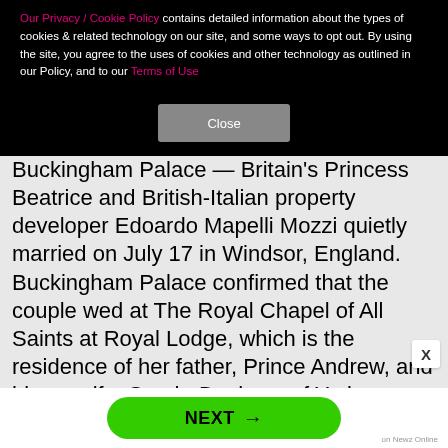Our Privacy / Cookie Policy contains detailed information about the types of cookies & related technology on our site, and some ways to opt out. By using the site, you agree to the uses of cookies and other technology as outlined in our Policy, and to our Terms of Use
Close
Buckingham Palace — Britain's Princess Beatrice and British-Italian property developer Edoardo Mapelli Mozzi quietly married on July 17 in Windsor, England. Buckingham Palace confirmed that the couple wed at The Royal Chapel of All Saints at Royal Lodge, which is the residence of her father, Prince Andrew, and his ex-wife, Sarah, Duchess of York. Reports confirm that the bride's grandparents Queen Elizabeth II and Prince Philip were in attendance, as was a small group of oth
NEXT →
on Newz Online